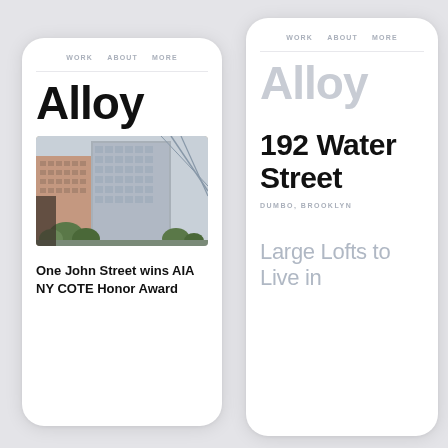[Figure (screenshot): Two mobile phone UI mockups showing the Alloy website. Left phone shows nav with WORK, ABOUT, MORE, large bold 'Alloy' title, a building photograph (One John Street, DUMBO Brooklyn), and text 'One John Street wins AIA NY COTE Honor Award'. Right phone shows nav with WORK, ABOUT, MORE, faded 'Alloy' title, bold '192 Water Street', subtitle 'DUMBO, BROOKLYN', and light gray text 'Large Lofts to Live in'.]